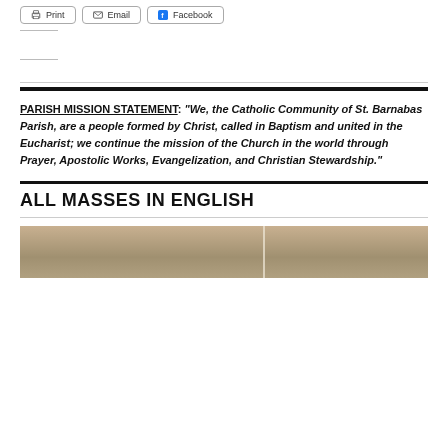Print | Email | Facebook
PARISH MISSION STATEMENT: “We, the Catholic Community of St. Barnabas Parish, are a people formed by Christ, called in Baptism and united in the Eucharist; we continue the mission of the Church in the world through Prayer, Apostolic Works, Evangelization, and Christian Stewardship.”
ALL MASSES IN ENGLISH
[Figure (photo): Sepia-toned interior photo of a church building]